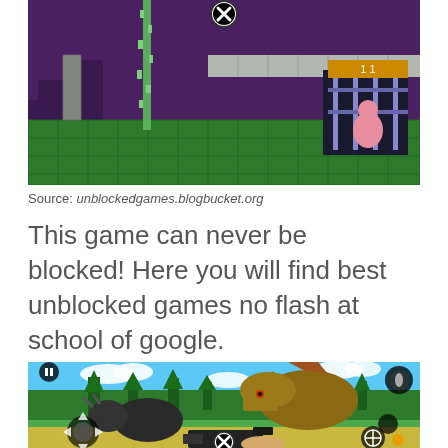[Figure (screenshot): A 2D platform video game screenshot showing a pixelated scene with green blocks, purple background, hanging vines, and a small character in a cage on the right side. There is an X close button at the top center.]
Source: unblockedgames.blogbucket.org
This game can never be blocked! Here you will find best unblocked games no flash at school of google.
[Figure (screenshot): A 3D first-person shooter game screenshot showing dinosaurs (a spinosaurus and triceratops) in a grassy field with trees in the background. The player holds a gun. Mobile UI controls are visible including a joystick, pause button, weapon buttons, and an X close button.]